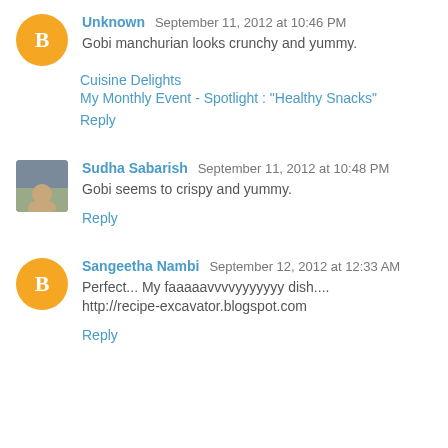Unknown  September 11, 2012 at 10:46 PM
Gobi manchurian looks crunchy and yummy.
Cuisine Delights
My Monthly Event - Spotlight : "Healthy Snacks"
Reply
Sudha Sabarish  September 11, 2012 at 10:48 PM
Gobi seems to crispy and yummy.
Reply
Sangeetha Nambi  September 12, 2012 at 12:33 AM
Perfect... My faaaaavvvvyyyyyyy dish....
http://recipe-excavator.blogspot.com
Reply